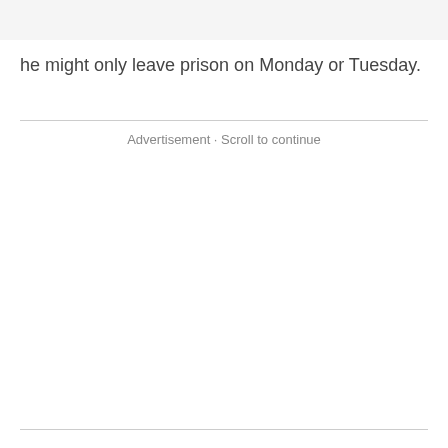he might only leave prison on Monday or Tuesday.
Advertisement · Scroll to continue